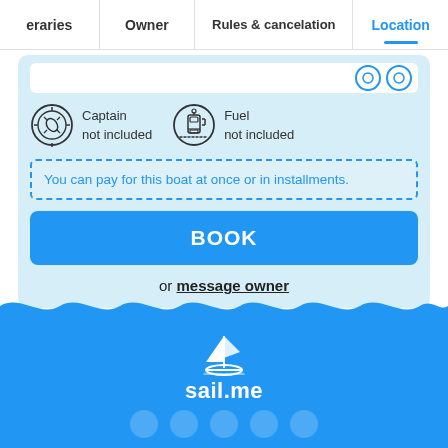eraries | Owner | Rules & cancelation | Location
Captain not included
Fuel not included
You can pay for this boat at once or in installments.
BOOK
or message owner
[Figure (logo): sail.me logo with sailboat icon on blue background]
sail.me